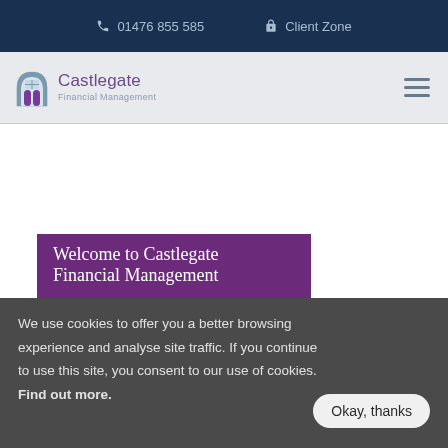01476 855 585   Client Zone
[Figure (logo): Castlegate Financial Management logo with arch/gate icon]
Welcome to Castlegate Financial Management
We use cookies to offer you a better browsing experience and analyse site traffic. If you continue to use this site, you consent to our use of cookies. Find out more.